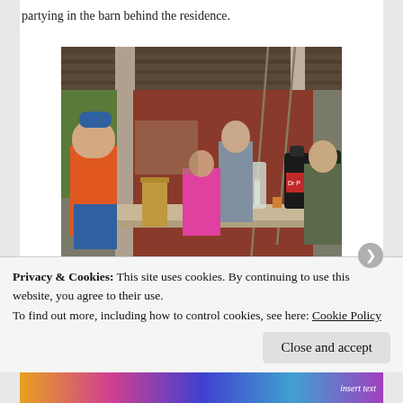partying in the barn behind the residence.
[Figure (photo): People gathered under a barn porch/overhang, with a man in orange shirt on left, others seated and standing, large soda bottles on a table, wooden structure with ropes hanging.]
Was the old man flirting? Notice how she's smiling and playing with her hair? Oh, you go with your bad self, stud!
Privacy & Cookies: This site uses cookies. By continuing to use this website, you agree to their use. To find out more, including how to control cookies, see here: Cookie Policy
Close and accept